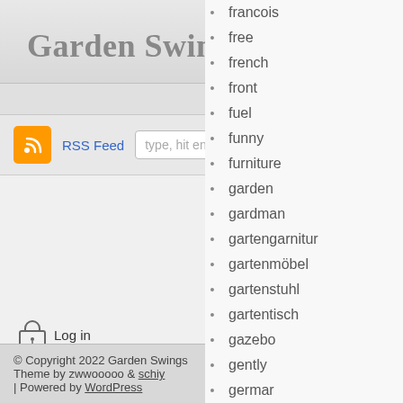Garden Swings
Home
RSS Feed  type, hit enter
francois
free
french
front
fuel
funny
furniture
garden
gardman
gartengarnitur
gartenmöbel
gartenstuhl
gartentisch
gazebo
gently
germar
gibbon
gilroy
glass
gondola
Log in
© Copyright 2022 Garden Swings
Theme by zwwooooo & schiy
| Powered by WordPress